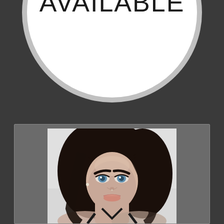AVAILABLE
[Figure (photo): Profile photo of a young woman with dark hair and blue eyes, wearing a black strappy top, lying down, looking at camera]